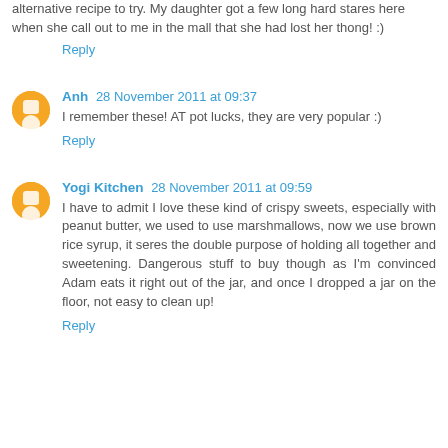alternative recipe to try. My daughter got a few long hard stares here when she call out to me in the mall that she had lost her thong! :)
Reply
Anh 28 November 2011 at 09:37
I remember these! AT pot lucks, they are very popular :)
Reply
Yogi Kitchen 28 November 2011 at 09:59
I have to admit I love these kind of crispy sweets, especially with peanut butter, we used to use marshmallows, now we use brown rice syrup, it seres the double purpose of holding all together and sweetening. Dangerous stuff to buy though as I'm convinced Adam eats it right out of the jar, and once I dropped a jar on the floor, not easy to clean up!
Reply